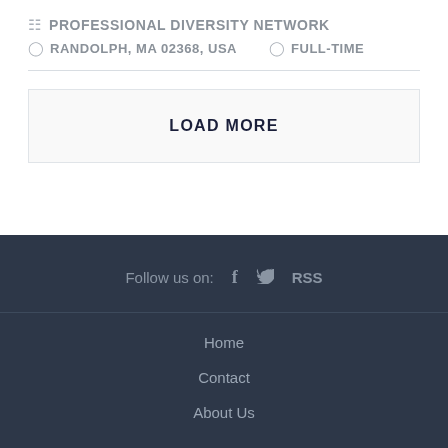PROFESSIONAL DIVERSITY NETWORK
RANDOLPH, MA 02368, USA   FULL-TIME
LOAD MORE
Follow us on:   f   (twitter)   RSS
Home
Contact
About Us